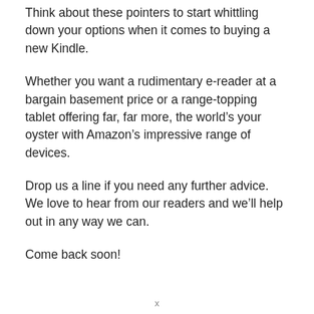Think about these pointers to start whittling down your options when it comes to buying a new Kindle.
Whether you want a rudimentary e-reader at a bargain basement price or a range-topping tablet offering far, far more, the world’s your oyster with Amazon’s impressive range of devices.
Drop us a line if you need any further advice. We love to hear from our readers and we’ll help out in any way we can.
Come back soon!
x